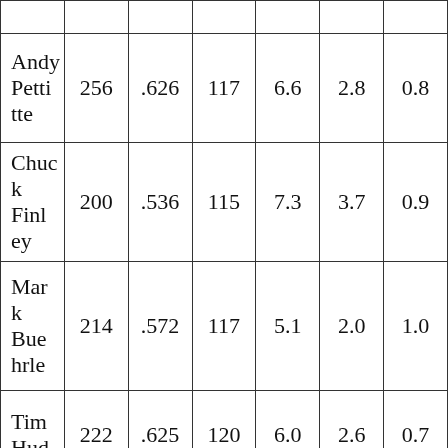| Name | Col2 | Col3 | Col4 | Col5 | Col6 | Col7 |
| --- | --- | --- | --- | --- | --- | --- |
| Andy Pettitte | 256 | .626 | 117 | 6.6 | 2.8 | 0.8 |
| Chuck Finley | 200 | .536 | 115 | 7.3 | 3.7 | 0.9 |
| Mark Buehrle | 214 | .572 | 117 | 5.1 | 2.0 | 1.0 |
| Tim Hud... | 222 | .625 | 120 | 6.0 | 2.6 | 0.7 |